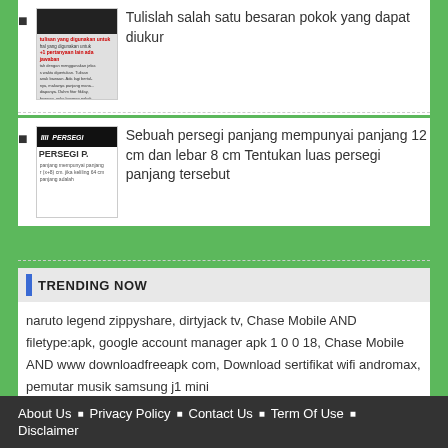Tulislah salah satu besaran pokok yang dapat diukur
Sebuah persegi panjang mempunyai panjang 12 cm dan lebar 8 cm Tentukan luas persegi panjang tersebut
TRENDING NOW
naruto legend zippyshare, dirtyjack tv, Chase Mobile AND filetype:apk, google account manager apk 1 0 0 18, Chase Mobile AND www downloadfreeapk com, Download sertifikat wifi andromax, pemutar musik samsung j1 mini
About Us | Privacy Policy | Contact Us | Term Of Use | Disclaimer